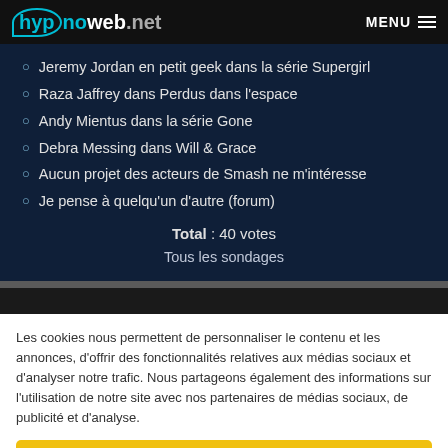hypnoweb.net MENU
Jeremy Jordan en petit geek dans la série Supergirl
Raza Jaffrey dans Perdus dans l'espace
Andy Mientus dans la série Gone
Debra Messing dans Will & Grace
Aucun projet des acteurs de Smash ne m'intéresse
Je pense à quelqu'un d'autre (forum)
Total : 40 votes
Tous les sondages
Les cookies nous permettent de personnaliser le contenu et les annonces, d'offrir des fonctionnalités relatives aux médias sociaux et d'analyser notre trafic. Nous partageons également des informations sur l'utilisation de notre site avec nos partenaires de médias sociaux, de publicité et d'analyse.
OK, j'ai compris